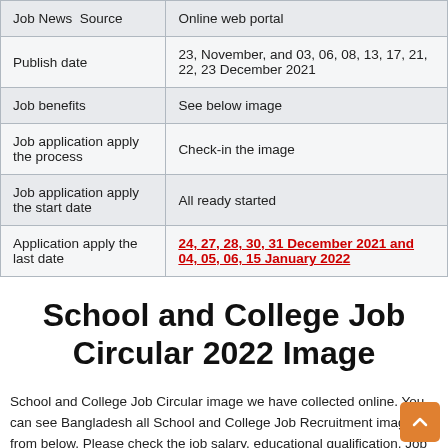| Field | Value |
| --- | --- |
| Job News  Source | Online web portal |
| Publish date | 23, November, and 03, 06, 08, 13, 17, 21, 22, 23 December 2021 |
| Job benefits | See below image |
| Job application apply the process | Check-in the image |
| Job application apply the start date | All ready started |
| Application apply the last date | 24, 27, 28, 30, 31 December 2021 and 04, 05, 06, 15 January 2022 |
School and College Job Circular 2022 Image
School and College Job Circular image we have collected online. You can see Bangladesh all School and College Job Recruitment images from below. Please check the job salary, educational qualification, Job exam date, job benefits in the below job image. So don't waste